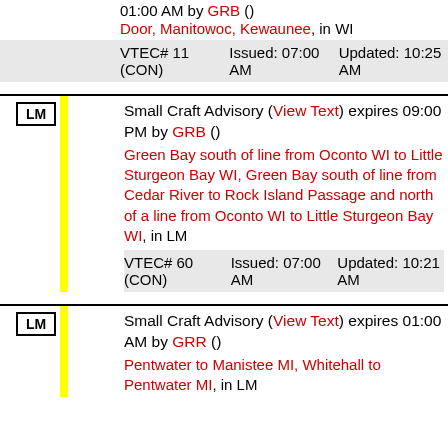01:00 AM by GRB ()
Door, Manitowoc, Kewaunee, in WI
| VTEC# 11 (CON) | Issued: 07:00 AM | Updated: 10:25 AM |
| --- | --- | --- |
Small Craft Advisory (View Text) expires 09:00 PM by GRB ()
Green Bay south of line from Oconto WI to Little Sturgeon Bay WI, Green Bay south of line from Cedar River to Rock Island Passage and north of a line from Oconto WI to Little Sturgeon Bay WI, in LM
| VTEC# 60 (CON) | Issued: 07:00 AM | Updated: 10:21 AM |
| --- | --- | --- |
Small Craft Advisory (View Text) expires 01:00 AM by GRR ()
Pentwater to Manistee MI, Whitehall to Pentwater MI, in LM